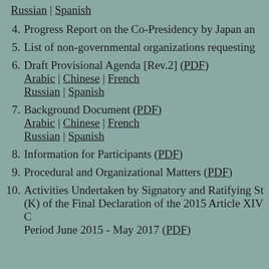Russian | Spanish
4. Progress Report on the Co-Presidency by Japan an...
5. List of non-governmental organizations requesting...
6. Draft Provisional Agenda [Rev.2] (PDF)
Arabic | Chinese | French
Russian | Spanish
7. Background Document (PDF)
Arabic | Chinese | French
Russian | Spanish
8. Information for Participants (PDF)
9. Procedural and Organizational Matters (PDF)
10. Activities Undertaken by Signatory and Ratifying St... (K) of the Final Declaration of the 2015 Article XIV C... Period June 2015 - May 2017 (PDF)